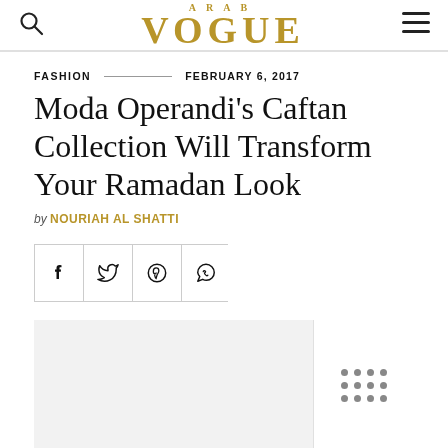VOGUE
FASHION  —————  FEBRUARY 6, 2017
Moda Operandi's Caftan Collection Will Transform Your Ramadan Look
by NOURIAH AL SHATTI
[Figure (infographic): Social share buttons for Facebook, Twitter, Pinterest, and WhatsApp]
[Figure (photo): Article main image placeholder, partially visible at bottom of page with an advertisement overlay showing a grid of dots]